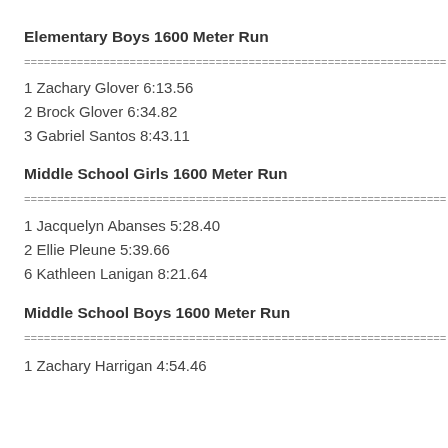Elementary Boys 1600 Meter Run
1 Zachary Glover 6:13.56
2 Brock Glover 6:34.82
3 Gabriel Santos 8:43.11
Middle School Girls 1600 Meter Run
1 Jacquelyn Abanses 5:28.40
2 Ellie Pleune 5:39.66
6 Kathleen Lanigan 8:21.64
Middle School Boys 1600 Meter Run
1 Zachary Harrigan 4:54.46